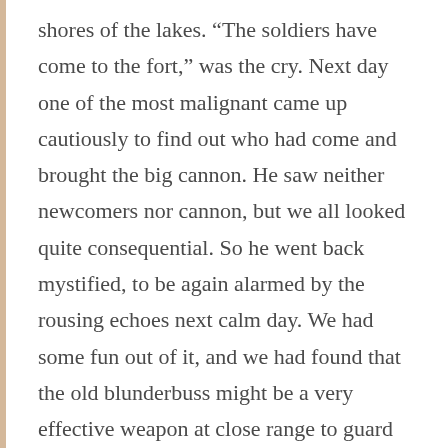shores of the lakes. “The soldiers have come to the fort,” was the cry. Next day one of the most malignant came up cautiously to find out who had come and brought the big cannon. He saw neither newcomers nor cannon, but we all looked quite consequential. So he went back mystified, to be again alarmed by the rousing echoes next calm day. We had some fun out of it, and we had found that the old blunderbuss might be a very effective weapon at close range to guard our gates.